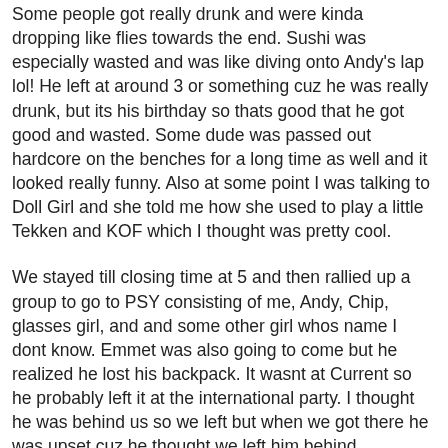Some people got really drunk and were kinda dropping like flies towards the end. Sushi was especially wasted and was like diving onto Andy's lap lol! He left at around 3 or something cuz he was really drunk, but its his birthday so thats good that he got good and wasted. Some dude was passed out hardcore on the benches for a long time as well and it looked really funny. Also at some point I was talking to Doll Girl and she told me how she used to play a little Tekken and KOF which I thought was pretty cool.
We stayed till closing time at 5 and then rallied up a group to go to PSY consisting of me, Andy, Chip, glasses girl, and and some other girl whos name I dont know. Emmet was also going to come but he realized he lost his backpack. It wasnt at Current so he probably left it at the international party. I thought he was behind us so we left but when we got there he was upset cuz he thought we left him behind. Eventually he came back to PSY and was feeling a little better but never found his bag. Masami came later on too and so did Jackie with some girl and some other dude. Natsume played a song by this Japanese female fronted band called Gothic Lolita Doctrine. I never heard of them but it turned out that the girl who was there with Jackie was the lead singer! Jackie said